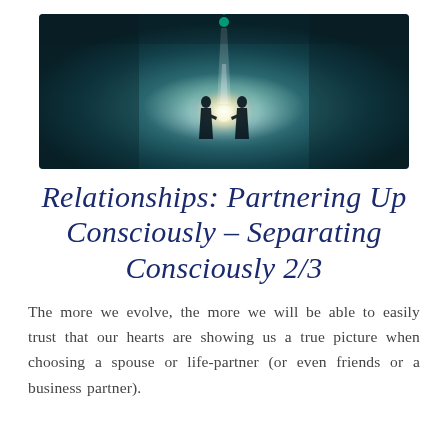[Figure (photo): Dark atmospheric photo of two silhouetted figures facing each other and holding hands, with a bright glowing light behind them against a deep teal/dark blue sky background.]
Relationships: Partnering Up Consciously – Separating Consciously 2/3
The more we evolve, the more we will be able to easily trust that our hearts are showing us a true picture when choosing a spouse or life-partner (or even friends or a business partner).